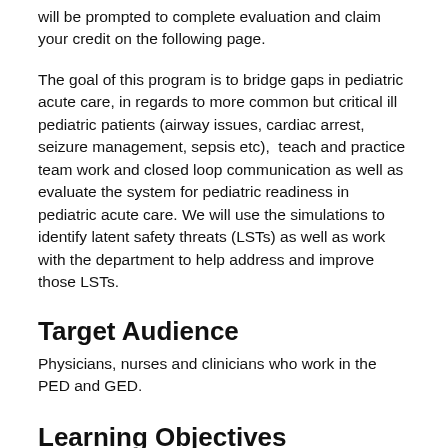will be prompted to complete evaluation and claim your credit on the following page.
The goal of this program is to bridge gaps in pediatric acute care, in regards to more common but critical ill pediatric patients (airway issues, cardiac arrest, seizure management, sepsis etc),  teach and practice team work and closed loop communication as well as evaluate the system for pediatric readiness in pediatric acute care. We will use the simulations to identify latent safety threats (LSTs) as well as work with the department to help address and improve those LSTs.
Target Audience
Physicians, nurses and clinicians who work in the PED and GED.
Learning Objectives